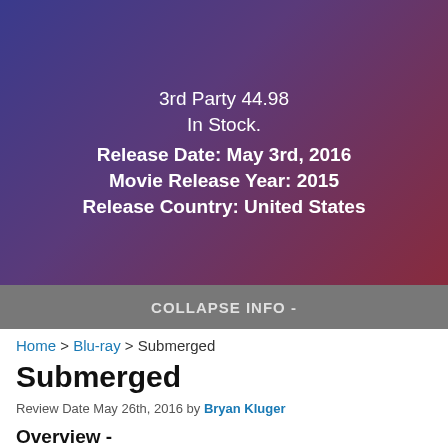3rd Party 44.98
In Stock.
Release Date: May 3rd, 2016
Movie Release Year: 2015
Release Country: United States
COLLAPSE INFO -
Home > Blu-ray > Submerged
Submerged
Review Date May 26th, 2016 by Bryan Kluger
Overview -
In Submerged, Jonathan Bennett (Mean Girls) stars as an ex-soldier turned bodyguard hired to protect a young woman. But while cruising with a group of friends one night, their stretch limo is run off the road and into the water by a gang of ruthless kidnappers — who then dive in to finish the job. Suddenly it's sink or swim, as the bodyguard must fight to keep the vehicle from becoming a